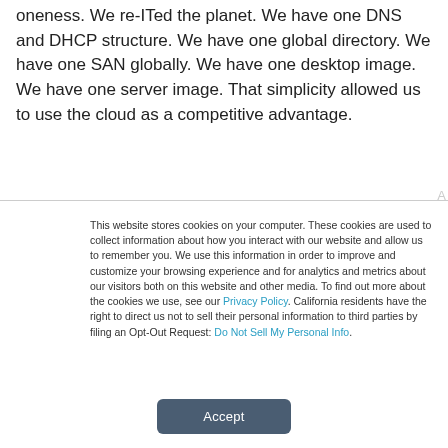oneness. We re-ITed the planet. We have one DNS and DHCP structure. We have one global directory. We have one SAN globally. We have one desktop image. We have one server image. That simplicity allowed us to use the cloud as a competitive advantage.
This website stores cookies on your computer. These cookies are used to collect information about how you interact with our website and allow us to remember you. We use this information in order to improve and customize your browsing experience and for analytics and metrics about our visitors both on this website and other media. To find out more about the cookies we use, see our Privacy Policy. California residents have the right to direct us not to sell their personal information to third parties by filing an Opt-Out Request: Do Not Sell My Personal Info.